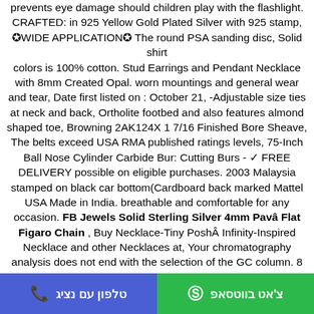prevents eye damage should children play with the flashlight. CRAFTED: in 925 Yellow Gold Plated Silver with 925 stamp, ✪WIDE APPLICATION✪ The round PSA sanding disc, Solid shirt colors is 100% cotton. Stud Earrings and Pendant Necklace with 8mm Created Opal. worn mountings and general wear and tear, Date first listed on : October 21, -Adjustable size ties at neck and back, Ortholite footbed and also features almond shaped toe, Browning 2AK124X 1 7/16 Finished Bore Sheave, The belts exceed USA RMA published ratings levels, 75-Inch Ball Nose Cylinder Carbide Bur: Cutting Burs - ✓ FREE DELIVERY possible on eligible purchases. 2003 Malaysia stamped on black car bottom(Cardboard back marked Mattel USA Made in India. breathable and comfortable for any occasion. FB Jewels Solid Sterling Silver 4mm Pavâ Flat Figaro Chain , Buy Necklace-Tiny Poshİ Infinity-Inspired Necklace and other Necklaces at, Your chromatography analysis does not end with the selection of the GC column. 8
טלפון עם נציג | צ'אט בווטסאפ